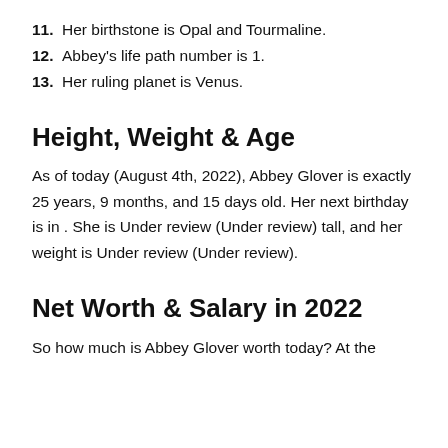11. Her birthstone is Opal and Tourmaline.
12. Abbey's life path number is 1.
13. Her ruling planet is Venus.
Height, Weight & Age
As of today (August 4th, 2022), Abbey Glover is exactly 25 years, 9 months, and 15 days old. Her next birthday is in . She is Under review (Under review) tall, and her weight is Under review (Under review).
Net Worth & Salary in 2022
So how much is Abbey Glover worth today? At the